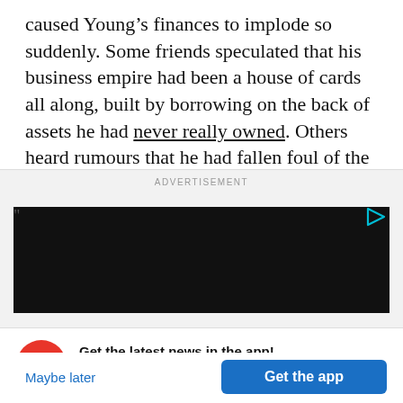caused Young’s finances to implode so suddenly. Some friends speculated that his business empire had been a house of cards all along, built by borrowing on the back of assets he had never really owned. Others heard rumours that he had fallen foul of the Russian mafia.
[Figure (other): Advertisement section with a dark video thumbnail and play button icon, labeled ADVERTISEMENT at top]
Get the latest news in the app!
Stay up to date on the most breaking news, all from your BuzzFeed app.
Maybe later
Get the app